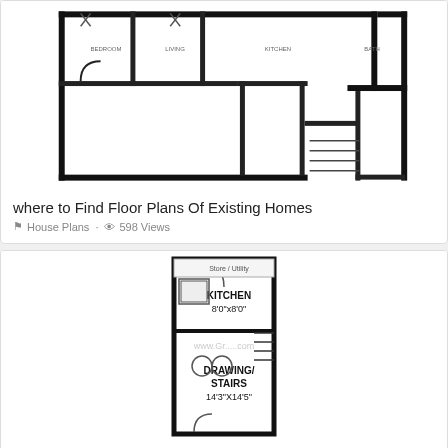[Figure (schematic): Floor plan of existing home showing multiple rooms, walls, doors, and architectural details in black and white line drawing style.]
where to Find Floor Plans Of Existing Homes
House Plans · 598 Views
[Figure (schematic): Floor plan for 15 by 60 feet plot showing Kitchen 8'0"x8'0" and Drawing/Stairs 14'3"x14'5" rooms with staircase detail.]
House Plan for 15 Feet by 60 Feet Plot
House Plans · 795 Views